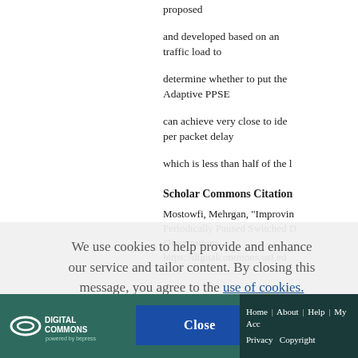proposed
and developed based on an traffic load to
determine whether to put the Adaptive PPSE
can achieve very close to ide per packet delay
which is less than half of the l
Scholar Commons Citation
Mostowfi, Mehrgan, "Improvin Periodically Paused Switched D Dissertations. https://digitalcommons.usf.ed
We use cookies to help provide and enhance our service and tailor content. By closing this message, you agree to the use of cookies.
Home | About | Help | My Acc Privacy Copyright